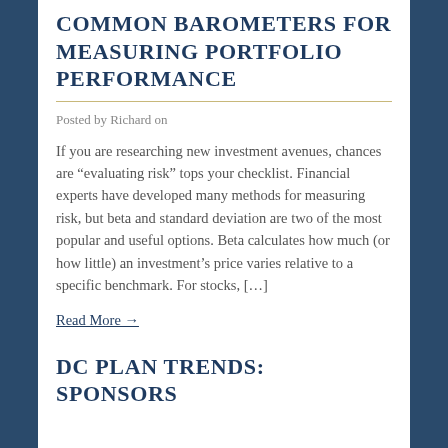COMMON BAROMETERS FOR MEASURING PORTFOLIO PERFORMANCE
Posted by Richard on
If you are researching new investment avenues, chances are “evaluating risk” tops your checklist. Financial experts have developed many methods for measuring risk, but beta and standard deviation are two of the most popular and useful options. Beta calculates how much (or how little) an investment’s price varies relative to a specific benchmark. For stocks, […]
Read More →
DC PLAN TRENDS: SPONSORS